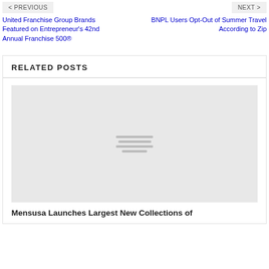< PREVIOUS    NEXT >
United Franchise Group Brands Featured on Entrepreneur’s 42nd Annual Franchise 500®
BNPL Users Opt-Out of Summer Travel According to Zip
RELATED POSTS
[Figure (photo): Placeholder image with grey background and three horizontal lines indicating a loading or missing image state]
Mensusa Launches Largest New Collections of